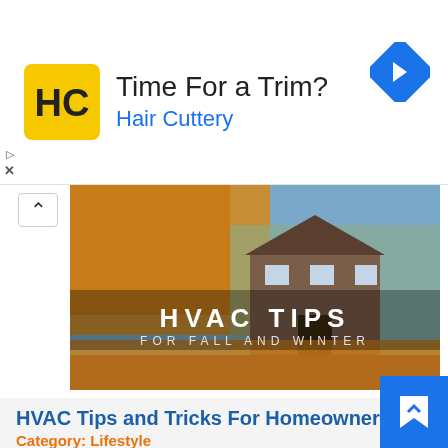[Figure (logo): Hair Cuttery advertisement banner with HC logo, text 'Time For a Trim? Hair Cuttery', and a blue diamond arrow icon]
[Figure (photo): Banner photo of a suburban house in autumn with orange/yellow leaves on trees, overlaid with text 'HVAC TIPS FOR FALL AND WINTER']
HVAC Tips and Tricks For Homeowners
Category: Lifestyle
POSTED BY ADMIN 11-OCT-2019 .
One of the sad facts of life is that all works of Man, including our beloved HVAC systems, eventually start to fall apart. One of the primary responsibilities of a homeowner or landlord is to ensure that the family or tenants are able to dwell comfortably in